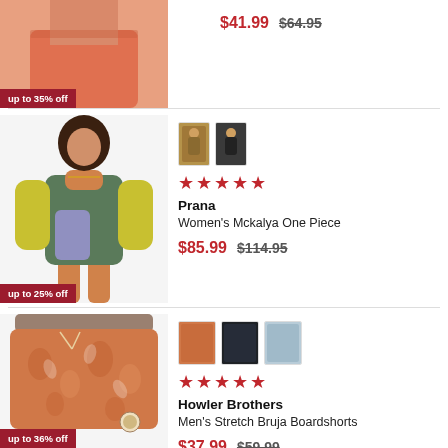[Figure (photo): Partial view of a woman wearing salmon/coral athletic shorts, cropped at torso]
up to 35% off
$41.99  $64.95
[Figure (photo): Woman wearing Prana Women's Mckalya One Piece surfsuit in green/yellow/lavender colorblock]
up to 25% off
[Figure (photo): Two small color swatch thumbnails of the Prana one piece in tan/multicolor and dark/black]
★★★★★
Prana
Women's Mckalya One Piece
$85.99  $114.95
[Figure (photo): Howler Brothers Men's Stretch Bruja Boardshorts in orange floral print, product flat/model shot]
up to 36% off
[Figure (photo): Three small color swatch thumbnails of Howler Brothers boardshorts in orange, dark/black, and blue floral]
★★★★★
Howler Brothers
Men's Stretch Bruja Boardshorts
$37.99  $59.99